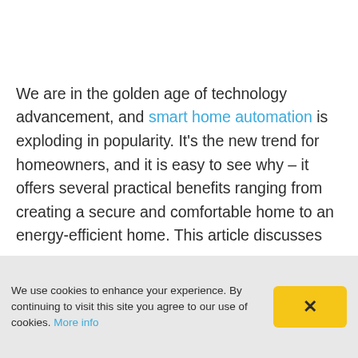We are in the golden age of technology advancement, and smart home automation is exploding in popularity. It's the new trend for homeowners, and it is easy to see why – it offers several practical benefits ranging from creating a secure and comfortable home to an energy-efficient home. This article discusses
We use cookies to enhance your experience. By continuing to visit this site you agree to our use of cookies. More info